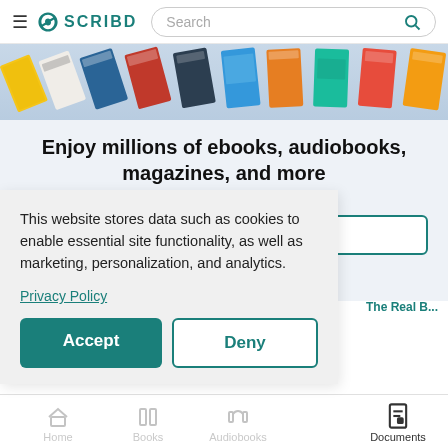SCRIBD — Search bar
[Figure (screenshot): Scribd website header with hamburger menu, Scribd logo, and search bar with magnifying glass icon]
[Figure (photo): Row of angled book covers in a strip banner]
Enjoy millions of ebooks, audiobooks, magazines, and more
This website stores data such as cookies to enable essential site functionality, as well as marketing, personalization, and analytics.
Privacy Policy
Accept
Deny
Home  >  Sheet Music  >  Pop & Rock Sheet Music  >  The Real B...
Documents